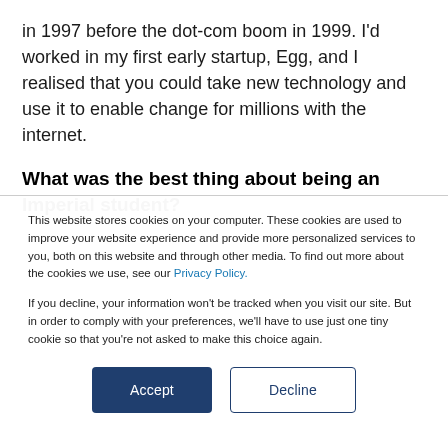in 1997 before the dot-com boom in 1999. I'd worked in my first early startup, Egg, and I realised that you could take new technology and use it to enable change for millions with the internet.
What was the best thing about being an Imperial student?
This website stores cookies on your computer. These cookies are used to improve your website experience and provide more personalized services to you, both on this website and through other media. To find out more about the cookies we use, see our Privacy Policy.
If you decline, your information won't be tracked when you visit our site. But in order to comply with your preferences, we'll have to use just one tiny cookie so that you're not asked to make this choice again.